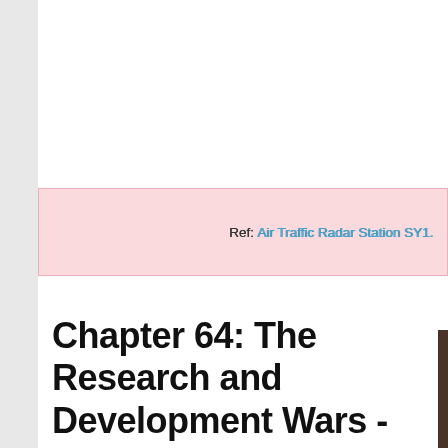Ref: Air Traffic Radar Station SY1.
Chapter 64: The Research and Development Wars - Blitzkrieg